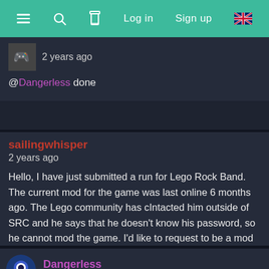≡  🔍  ⏱  Log in  Sign up  🇬🇧
2 years ago
@Dangerless done
sailingwhisper
2 years ago
Hello, I have just submitted a run for Lego Rock Band. The current mod for the game was last online 6 months ago. The Lego community has cIntacted him outside of SRC and he says that he doesn't know his password, so he cannot mod the game. I'd like to request to be a mod for the game. Thanks!
Dangerless
2 years ago